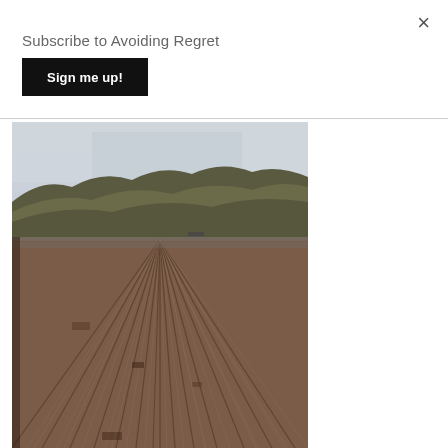×
Subscribe to Avoiding Regret
Sign me up!
[Figure (photo): Aerial/perspective view looking along a corrugated metal roof surface with rust stains and ridged panels converging toward the horizon. A hillside covered with scrubby vegetation is visible in the background under an overcast grey sky. A small structure or ventilation unit is visible mid-distance on the roof.]